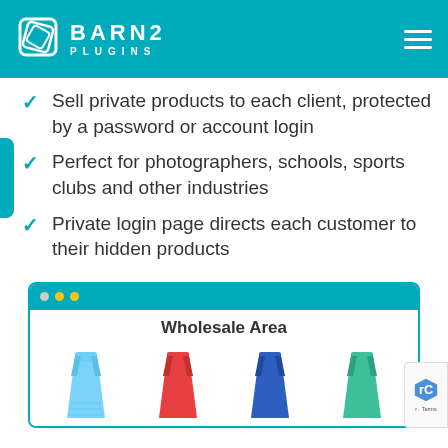[Figure (logo): Barn2 Plugins logo with teal header background and hamburger menu]
Sell private products to each client, protected by a password or account login
Perfect for photographers, schools, sports clubs and other industries
Private login page directs each customer to their hidden products
[Figure (screenshot): Browser mockup showing a Wholesale Area page with four colored dress product images (light blue, red, blue, green)]